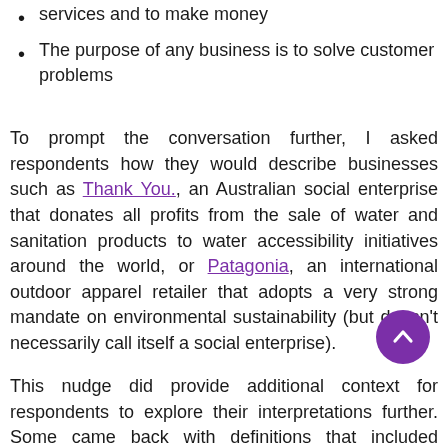services and to make money
The purpose of any business is to solve customer problems
To prompt the conversation further, I asked respondents how they would describe businesses such as Thank You., an Australian social enterprise that donates all profits from the sale of water and sanitation products to water accessibility initiatives around the world, or Patagonia, an international outdoor apparel retailer that adopts a very strong mandate on environmental sustainability (but doesn't necessarily call itself a social enterprise).
This nudge did provide additional context for respondents to explore their interpretations further. Some came back with definitions that included phrases such as 'socially-minded' and 'ethical'. A couple of accountants / engineers described these businesses to be ones that were (willing t...